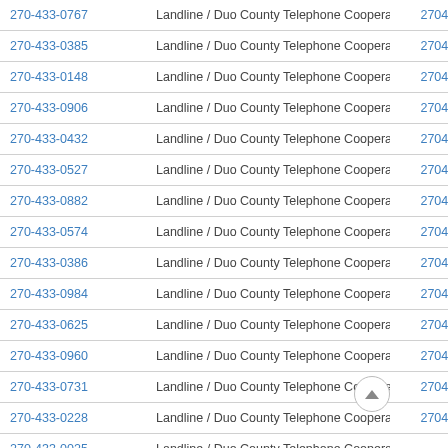| Phone | Type / Carrier | Digits |
| --- | --- | --- |
| 270-433-0767 | Landline / Duo County Telephone Cooperative | 2704330767 |
| 270-433-0385 | Landline / Duo County Telephone Cooperative | 2704330385 |
| 270-433-0148 | Landline / Duo County Telephone Cooperative | 2704330148 |
| 270-433-0906 | Landline / Duo County Telephone Cooperative | 2704330906 |
| 270-433-0432 | Landline / Duo County Telephone Cooperative | 2704330432 |
| 270-433-0527 | Landline / Duo County Telephone Cooperative | 2704330527 |
| 270-433-0882 | Landline / Duo County Telephone Cooperative | 2704330882 |
| 270-433-0574 | Landline / Duo County Telephone Cooperative | 2704330574 |
| 270-433-0386 | Landline / Duo County Telephone Cooperative | 2704330386 |
| 270-433-0984 | Landline / Duo County Telephone Cooperative | 2704330984 |
| 270-433-0625 | Landline / Duo County Telephone Cooperative | 2704330625 |
| 270-433-0960 | Landline / Duo County Telephone Cooperative | 2704330960 |
| 270-433-0731 | Landline / Duo County Telephone Cooperative | 2704330731 |
| 270-433-0228 | Landline / Duo County Telephone Cooperative | 2704330228 |
| 270-433-0025 | Landline / Duo County Telephone Cooperative | 002… |
| 270-433-0693 | Landline / Duo County Telephone Cooperative | 069… |
| 270-433-0341 | Landline / Duo County Telephone Cooperative | 2704330341 |
| 270-433-0523 | Landline / Duo County Telephone Cooperative | 2704330523 |